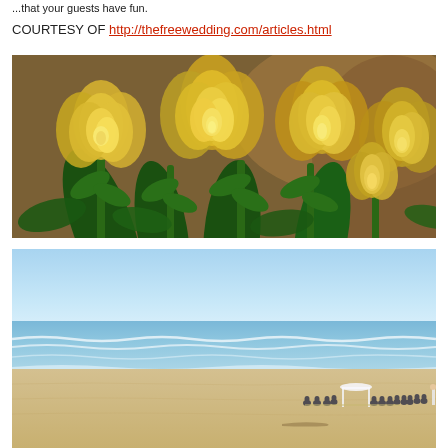...that your guests have fun.
COURTESY OF http://thefreewedding.com/articles.html
[Figure (photo): Close-up photo of yellow rose buds with green leaves and stems, soft focus background]
[Figure (photo): Wide beach scene with blue sky, ocean waves, sandy beach, and a small outdoor wedding ceremony with guests seated under a white arch canopy in the distance on the right side]